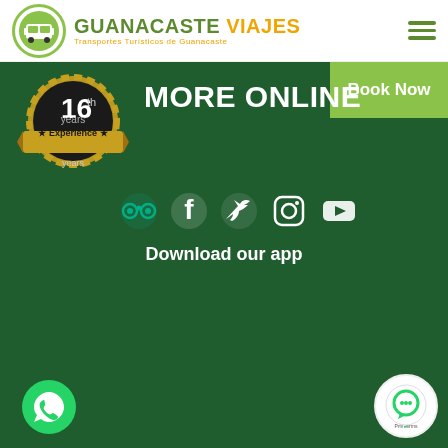[Figure (logo): Guanacaste Viajes logo with green circle bus icon, green GUANACASTE and orange VIAJES text, subtitle Transportes Turísticos de Guanacaste, and hamburger menu icon]
[Figure (infographic): Dark green promotional banner showing 16th years Experience badge, MORE ONLINE text, Book Now green button, social media icons (TripAdvisor, Facebook, Twitter, Instagram, YouTube), Download our app text, Google Play button, App Store button, WhatsApp button, chat widget]
MORE ONLINE
Book Now
Download our app
GET IT ON
Google Play
Download on the
App Store